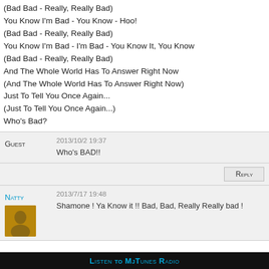(Bad Bad - Really, Really Bad)
You Know I'm Bad - You Know - Hoo!
(Bad Bad - Really, Really Bad)
You Know I'm Bad - I'm Bad - You Know It, You Know
(Bad Bad - Really, Really Bad)
And The Whole World Has To Answer Right Now
(And The Whole World Has To Answer Right Now)
Just To Tell You Once Again...
(Just To Tell You Once Again...)
Who's Bad?
2013/10/2 19:37
Who's BAD!!
Guest
Reply
2013/7/17 19:48
Shamone ! Ya Know it !! Bad, Bad, Really Really bad !
Natty
Listen to MjTunes Radio